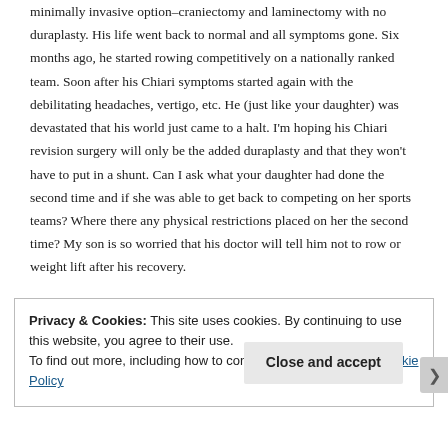minimally invasive option–craniectomy and laminectomy with no duraplasty. His life went back to normal and all symptoms gone. Six months ago, he started rowing competitively on a nationally ranked team. Soon after his Chiari symptoms started again with the debilitating headaches, vertigo, etc. He (just like your daughter) was devastated that his world just came to a halt. I'm hoping his Chiari revision surgery will only be the added duraplasty and that they won't have to put in a shunt. Can I ask what your daughter had done the second time and if she was able to get back to competing on her sports teams? Where there any physical restrictions placed on her the second time? My son is so worried that his doctor will tell him not to row or weight lift after his recovery.
Privacy & Cookies: This site uses cookies. By continuing to use this website, you agree to their use.
To find out more, including how to control cookies, see here: Cookie Policy